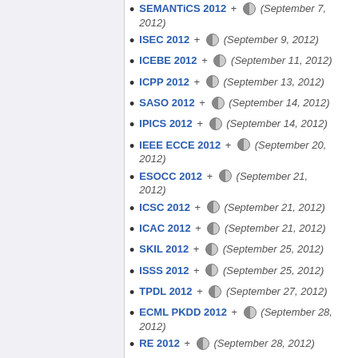SEMANTiCS 2012 + (September 7, 2012)
ISEC 2012 + (September 9, 2012)
ICEBE 2012 + (September 11, 2012)
ICPP 2012 + (September 13, 2012)
SASO 2012 + (September 14, 2012)
IPICS 2012 + (September 14, 2012)
IEEE ECCE 2012 + (September 20, 2012)
ESOCC 2012 + (September 21, 2012)
ICSC 2012 + (September 21, 2012)
ICAC 2012 + (September 21, 2012)
SKIL 2012 + (September 25, 2012)
ISSS 2012 + (September 25, 2012)
TPDL 2012 + (September 27, 2012)
ECML PKDD 2012 + (September 28, 2012)
RE 2012 + (September 28, 2012)